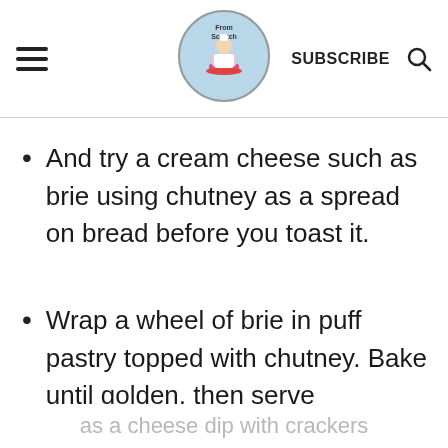From Scratch — SUBSCRIBE [search icon]
And try a cream cheese such as brie using chutney as a spread on bread before you toast it.
Wrap a wheel of brie in puff pastry topped with chutney. Bake until golden, then serve as a cheese dip with crackers